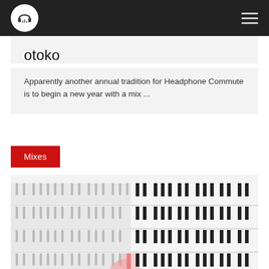Headphone Commute navigation bar with logo and hamburger menu
otoko
Apparently another annual tradition for Headphone Commute is to begin a new year with a mix ...
Mixes
[Figure (illustration): Piano roll / MIDI-style visualization showing vertical bars representing piano keys or note events in a grid pattern, with a red/pink element visible in the lower middle area suggesting a cursor or note highlight. The left half appears lighter/gray and the right half shows black and white key patterns more distinctly.]